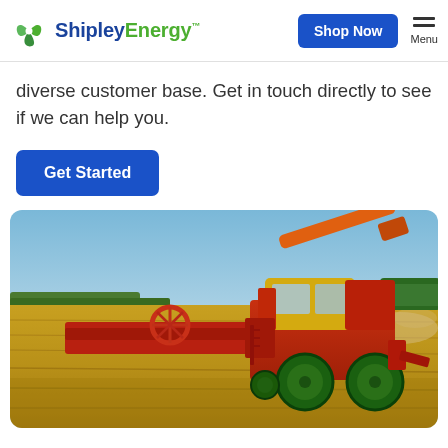Shipley Energy — Shop Now | Menu
diverse customer base. Get in touch directly to see if we can help you.
Get Started
[Figure (photo): A red combine harvester working in a golden wheat field under a clear blue sky, with dust rising in the background.]